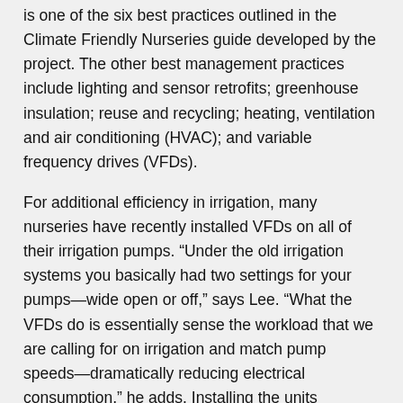is one of the six best practices outlined in the Climate Friendly Nurseries guide developed by the project. The other best management practices include lighting and sensor retrofits; greenhouse insulation; reuse and recycling; heating, ventilation and air conditioning (HVAC); and variable frequency drives (VFDs).
For additional efficiency in irrigation, many nurseries have recently installed VFDs on all of their irrigation pumps. “Under the old irrigation systems you basically had two settings for your pumps—wide open or off,” says Lee. “What the VFDs do is essentially sense the workload that we are calling for on irrigation and match pump speeds—dramatically reducing electrical consumption,” he adds. Installing the units captures substantial energy savings (30 to 35 percent), and reduces nitrous oxide emissions. Like methane, nitrous oxide is an even more significant greenhouse gas than carbon.